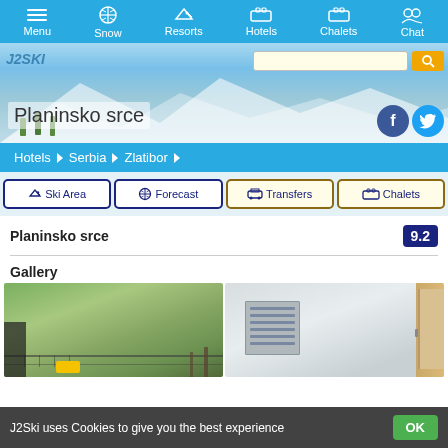Menu | Snow | Resorts | Hotels | Chalets | Chat
[Figure (screenshot): Hero banner showing snowy mountain scenery with search bar and title Planinsko srce, plus Facebook and Twitter social icons]
Planinsko srce
Hotels > Serbia > Zlatibor
Ski Area
Forecast
Transfers
Chalets
Planinsko srce  9.2
Gallery
[Figure (photo): Two hotel gallery photos side by side: left shows a balcony with forest view, right shows an interior room with radiator]
J2Ski uses Cookies to give you the best experience  OK